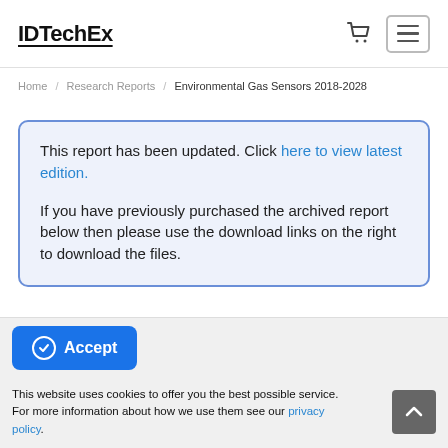IDTechEx
Home / Research Reports / Environmental Gas Sensors 2018-2028
This report has been updated. Click here to view latest edition.

If you have previously purchased the archived report below then please use the download links on the right to download the files.
Accept
This website uses cookies to offer you the best possible service. For more information about how we use them see our privacy policy.